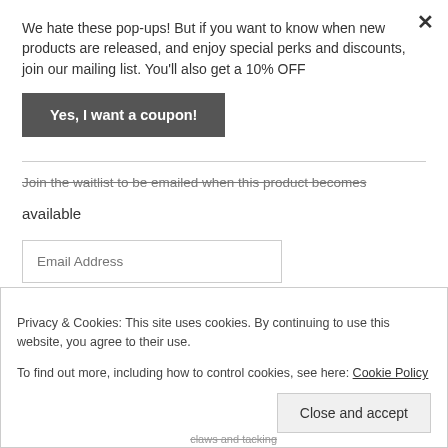We hate these pop-ups! But if you want to know when new products are released, and enjoy special perks and discounts, join our mailing list. You'll also get a 10% OFF
Yes, I want a coupon!
Join the waitlist to be emailed when this product becomes available
Email Address
Join Waitlist
Privacy & Cookies: This site uses cookies. By continuing to use this website, you agree to their use.
To find out more, including how to control cookies, see here: Cookie Policy
Close and accept
claws and tacking